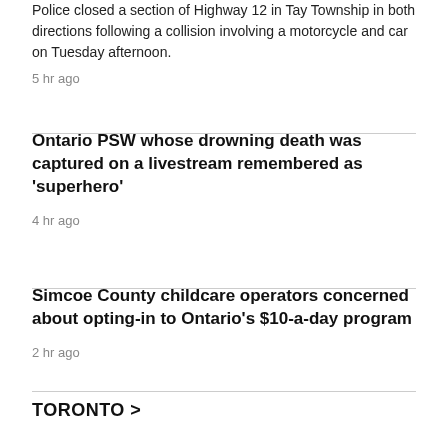Police closed a section of Highway 12 in Tay Township in both directions following a collision involving a motorcycle and car on Tuesday afternoon.
5 hr ago
Ontario PSW whose drowning death was captured on a livestream remembered as 'superhero'
4 hr ago
Simcoe County childcare operators concerned about opting-in to Ontario's $10-a-day program
2 hr ago
TORONTO >